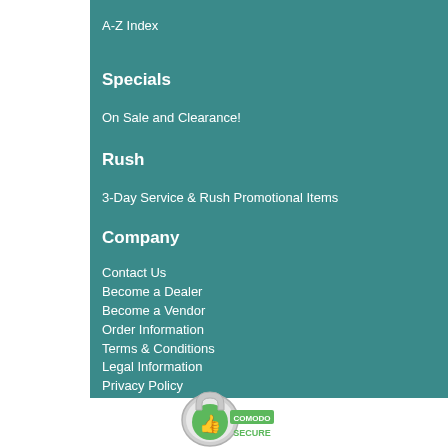A-Z Index
Specials
On Sale and Clearance!
Rush
3-Day Service & Rush Promotional Items
Company
Contact Us
Become a Dealer
Become a Vendor
Order Information
Terms & Conditions
Legal Information
Privacy Policy
[Figure (logo): Comodo Secure badge with padlock and thumbs up icon]